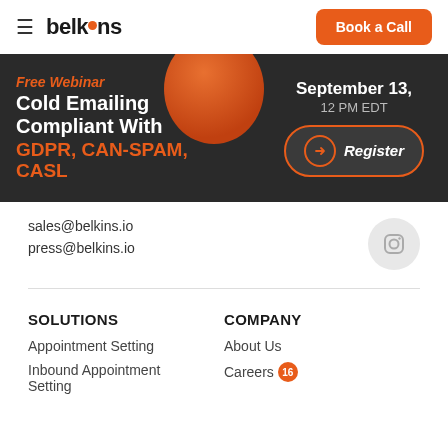belkins — Book a Call
[Figure (infographic): Webinar banner with dark background, orange sphere decoration. Text: Free Webinar (italic orange), Cold Emailing Compliant With (white bold), GDPR, CAN-SPAM, CASL (orange bold). Right side: September 13, 12 PM EDT. Register button with arrow icon.]
sales@belkins.io
press@belkins.io
SOLUTIONS
COMPANY
Appointment Setting
About Us
Inbound Appointment Setting
Careers 16